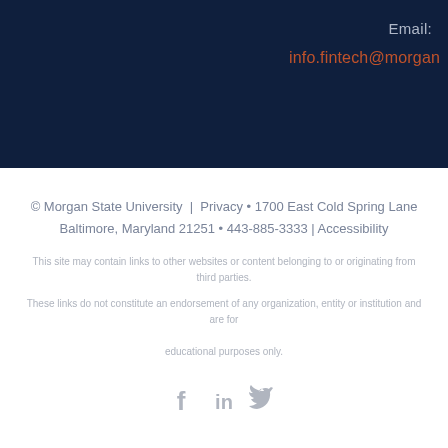Email:
info.fintech@morgan...
© Morgan State University  |  Privacy • 1700 East Cold Spring Lane Baltimore, Maryland 21251 • 443-885-3333  |  Accessibility
This site may contain links to other websites or content belonging to or originating from third parties.
These links do not constitute an endorsement of any organization, entity or institution and are for educational purposes only.
[Figure (other): Social media icons: Facebook (f), LinkedIn (in), Twitter (bird icon)]